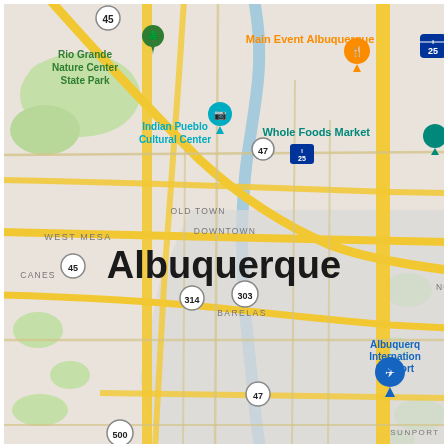[Figure (map): Google Maps screenshot showing Albuquerque, New Mexico. Visible neighborhoods include West Mesa, Old Town, Downtown, Barelas, Sunport. Notable landmarks labeled: Rio Grande Nature Center State Park (green pin, upper left), Indian Pueblo Cultural Center (teal camera pin, center-left), Main Event Albuquerque (orange restaurant pin, upper right), Whole Foods Market (teal pin, right), Albuquerque International Sunport (blue airplane pin, lower right). Road numbers visible: 45, 25, 47, 303, 314, 500. The city name 'Albuquerque' is displayed in large bold black text in the center of the map.]